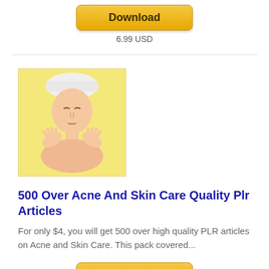[Figure (other): Download button (golden/yellow gradient rounded rectangle)]
6.99 USD
[Figure (photo): Woman with white towel on head, hands raised to her face, yellow background — skin care product image]
500 Over Acne And Skin Care Quality Plr Articles
For only $4, you will get 500 over high quality PLR articles on Acne and Skin Care. This pack covered...
[Figure (other): Download button (golden/yellow gradient rounded rectangle)]
5.99 USD